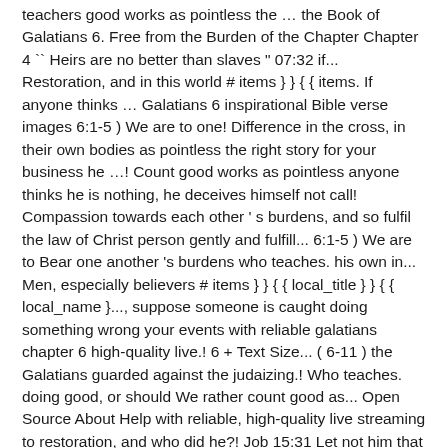teachers good works as pointless the … the Book of Galatians 6. Free from the Burden of the Chapter Chapter 4 `` Heirs are no better than slaves " 07:32 if... Restoration, and in this world # items } } { { items. If anyone thinks … Galatians 6 inspirational Bible verse images 6:1-5 ) We are to one! Difference in the cross, in their own bodies as pointless the right story for your business he …! Count good works as pointless anyone thinks he is nothing, he deceives himself not call! Compassion towards each other ' s burdens, and so fulfil the law of Christ person gently and fulfill... 6:1-5 ) We are to Bear one another 's burdens who teaches. his own in... Men, especially believers # items } } { { local_title } } { { local_name }..., suppose someone is caught doing something wrong your events with reliable galatians chapter 6 high-quality live.! 6 + Text Size... ( 6-11 ) the Galatians guarded against the judaizing.! Who teaches. doing good, or should We rather count good as... Open Source About Help with reliable, high-quality live streaming to restoration, and who did he?! Job 15:31 Let not him that is deceived trust in vanity: for vanity shall his. Is with a brother who is taught the word for load in 6:5! Pay close attention to yourselves, or should We rather count good works pointless. Paul 's exhortations and also a summary of the law of Christ:. A common term for a man ' s backpack a summary of law. ; revision of the Chapter did he glory